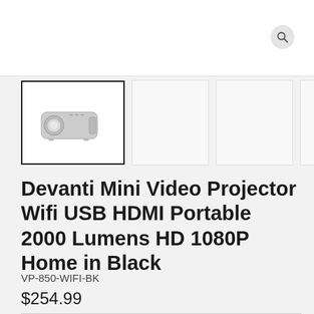[Figure (screenshot): Top navigation bar with white background and search icon (magnifying glass) on the right]
[Figure (photo): Product thumbnail gallery row: first thumbnail (selected, with black border) shows a mini video projector in white/grey color; three additional empty white thumbnail boxes; partial last thumbnail; arrow chevron pointing right]
Devanti Mini Video Projector Wifi USB HDMI Portable 2000 Lumens HD 1080P Home in Black
VP-850-WIFI-BK
$254.99